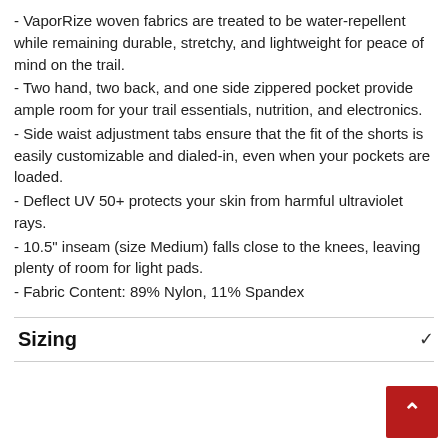- VaporRize woven fabrics are treated to be water-repellent while remaining durable, stretchy, and lightweight for peace of mind on the trail.
- Two hand, two back, and one side zippered pocket provide ample room for your trail essentials, nutrition, and electronics.
- Side waist adjustment tabs ensure that the fit of the shorts is easily customizable and dialed-in, even when your pockets are loaded.
- Deflect UV 50+ protects your skin from harmful ultraviolet rays.
- 10.5" inseam (size Medium) falls close to the knees, leaving plenty of room for light pads.
- Fabric Content: 89% Nylon, 11% Spandex
Sizing